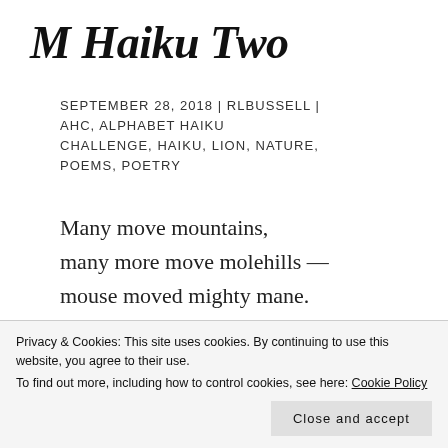M Haiku Two
SEPTEMBER 28, 2018 | RLBUSSELL | AHC, ALPHABET HAIKU CHALLENGE, HAIKU, LION, NATURE, POEMS, POETRY
Many move mountains,
many more move molehills —
mouse moved mighty mane.
© rl bussell 2018 – All rights reserved
Privacy & Cookies: This site uses cookies. By continuing to use this website, you agree to their use.
To find out more, including how to control cookies, see here: Cookie Policy
Close and accept